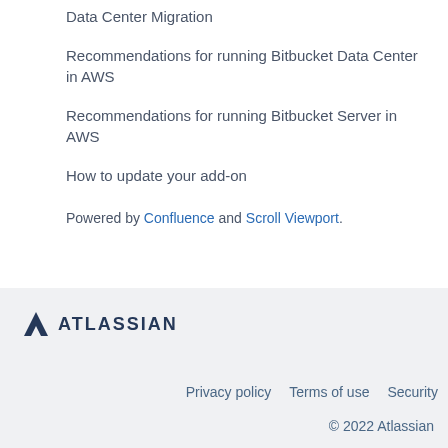Data Center Migration
Recommendations for running Bitbucket Data Center in AWS
Recommendations for running Bitbucket Server in AWS
How to update your add-on
Powered by Confluence and Scroll Viewport.
Atlassian   Privacy policy   Terms of use   Security   © 2022 Atlassian